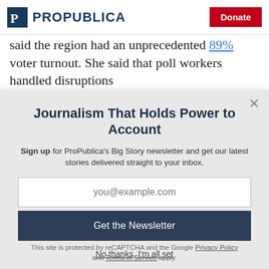ProPublica | Donate
said the region had an unprecedented 89% voter turnout. She said that poll workers handled disruptions
Journalism That Holds Power to Account
Sign up for ProPublica's Big Story newsletter and get our latest stories delivered straight to your inbox.
you@example.com
Get the Newsletter
No thanks, I'm all set
This site is protected by reCAPTCHA and the Google Privacy Policy and Terms of Service apply.